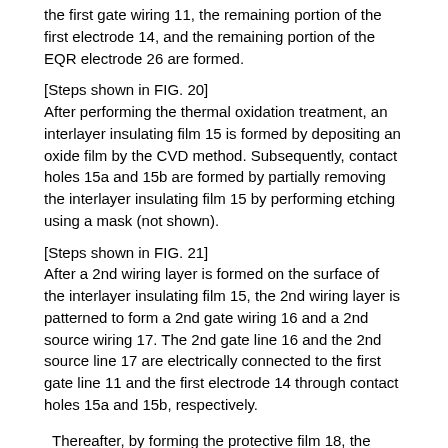the first gate wiring 11, the remaining portion of the first electrode 14, and the remaining portion of the EQR electrode 26 are formed.
[Steps shown in FIG. 20] After performing the thermal oxidation treatment, an interlayer insulating film 15 is formed by depositing an oxide film by the CVD method. Subsequently, contact holes 15a and 15b are formed by partially removing the interlayer insulating film 15 by performing etching using a mask (not shown).
[Steps shown in FIG. 21] After a 2nd wiring layer is formed on the surface of the interlayer insulating film 15, the 2nd wiring layer is patterned to form a 2nd gate wiring 16 and a 2nd source wiring 17. The 2nd gate line 16 and the 2nd source line 17 are electrically connected to the first gate line 11 and the first electrode 14 through contact holes 15a and 15b, respectively.
Thereafter, by forming the protective film 18, the trench type vertical power MOSFET shown in FIG. 1 is completed.